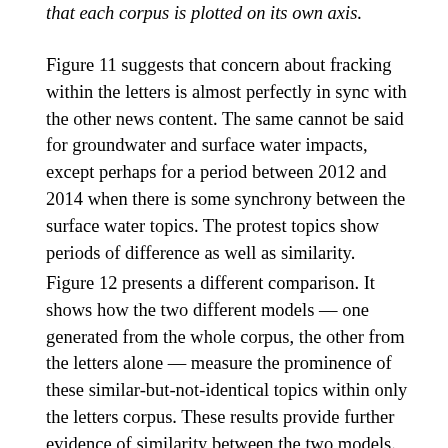that each corpus is plotted on its own axis.
Figure 11 suggests that concern about fracking within the letters is almost perfectly in sync with the other news content. The same cannot be said for groundwater and surface water impacts, except perhaps for a period between 2012 and 2014 when there is some synchrony between the surface water topics. The protest topics show periods of difference as well as similarity.
Figure 12 presents a different comparison. It shows how the two different models — one generated from the whole corpus, the other from the letters alone — measure the prominence of these similar-but-not-identical topics within only the letters corpus. These results provide further evidence of similarity between the two models. Except in the case of surface water impacts, the models follow one another closely, albeit with the whole-of-corpus model consistently tracking below the letters-only